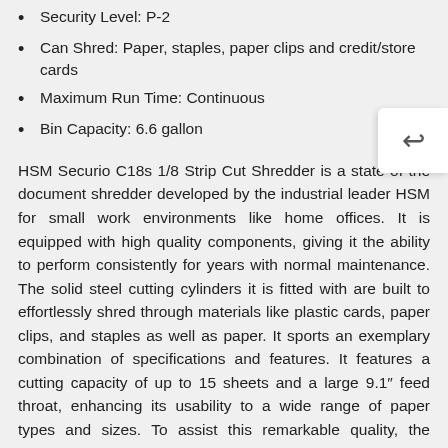Security Level: P-2
Can Shred: Paper, staples, paper clips and credit/store cards
Maximum Run Time: Continuous
Bin Capacity: 6.6 gallon
HSM Securio C18s 1/8 Strip Cut Shredder is a state of the document shredder developed by the industrial leader HSM for small work environments like home offices. It is equipped with high quality components, giving it the ability to perform consistently for years with normal maintenance. The solid steel cutting cylinders it is fitted with are built to effortlessly shred through materials like plastic cards, paper clips, and staples as well as paper. It sports an exemplary combination of specifications and features. It features a cutting capacity of up to 15 sheets and a large 9.1″ feed throat, enhancing its usability to a wide range of paper types and sizes. To assist this remarkable quality, the continuous duty motor shreds through material at a speed of 10.6 feet/min. The cutting cylinders of this paper shredder convert paper to 1/8″ strips, making it a P-2 security level shredder. HSM Securio C18s 1/8 is integrated with facilitative technologies to make it easy to use. To make paper jams a rare occurrence, it is equipped with Anti-Jam technology that prevents overloading of the feed unit. HSM C18s